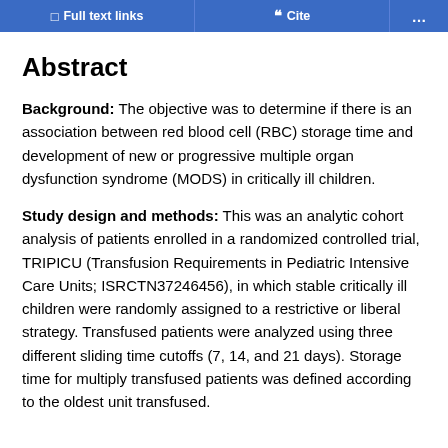Full text links | Cite | ...
Abstract
Background: The objective was to determine if there is an association between red blood cell (RBC) storage time and development of new or progressive multiple organ dysfunction syndrome (MODS) in critically ill children.
Study design and methods: This was an analytic cohort analysis of patients enrolled in a randomized controlled trial, TRIPICU (Transfusion Requirements in Pediatric Intensive Care Units; ISRCTN37246456), in which stable critically ill children were randomly assigned to a restrictive or liberal strategy. Transfused patients were analyzed using three different sliding time cutoffs (7, 14, and 21 days). Storage time for multiply transfused patients was defined according to the oldest unit transfused.